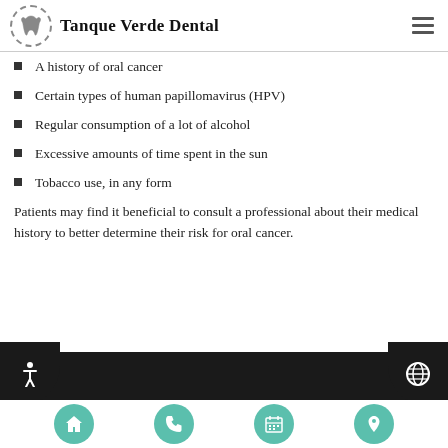Tanque Verde Dental
A history of oral cancer
Certain types of human papillomavirus (HPV)
Regular consumption of a lot of alcohol
Excessive amounts of time spent in the sun
Tobacco use, in any form
Patients may find it beneficial to consult a professional about their medical history to better determine their risk for oral cancer.
Navigation bar with home, phone, calendar, and location icons